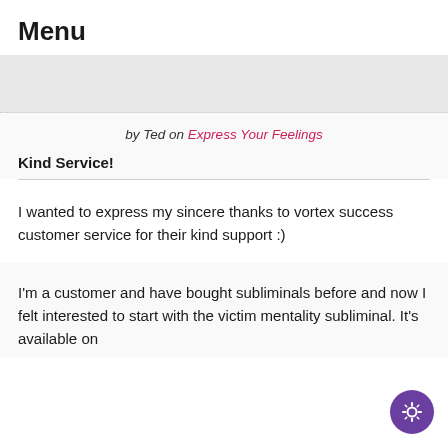Menu
[Figure (other): Gray banner placeholder area]
by Ted on Express Your Feelings
Kind Service!
I wanted to express my sincere thanks to vortex success customer service for their kind support :)
I'm a customer and have bought subliminals before and now I felt interested to start with the victim mentality subliminal. It's available on